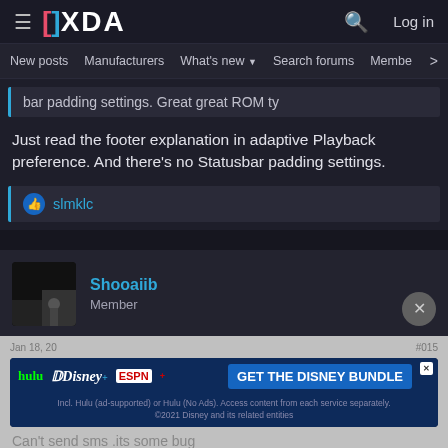XDA · New posts  Manufacturers  What's new  Search forums  Members
bar padding settings. Great great ROM ty
Just read the footer explanation in adaptive Playback preference. And there's no Statusbar padding settings.
slmklc
Shooaiib
Member
[Figure (other): Disney Bundle advertisement banner with Hulu, Disney+, ESPN+ logos and GET THE DISNEY BUNDLE button]
Can't send sms .its some bug